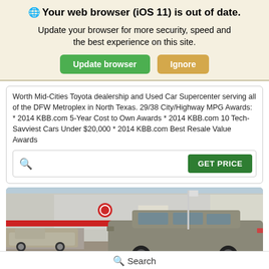Your web browser (iOS 11) is out of date.
Update your browser for more security, speed and the best experience on this site.
Worth Mid-Cities Toyota dealership and Used Car Supercenter serving all of the DFW Metroplex in North Texas. 29/38 City/Highway MPG Awards: * 2014 KBB.com 5-Year Cost to Own Awards * 2014 KBB.com 10 Tech-Savviest Cars Under $20,000 * 2014 KBB.com Best Resale Value Awards
[Figure (photo): Exterior photo of a used SUV/wagon parked in front of what appears to be a Toyota dealership building]
Search